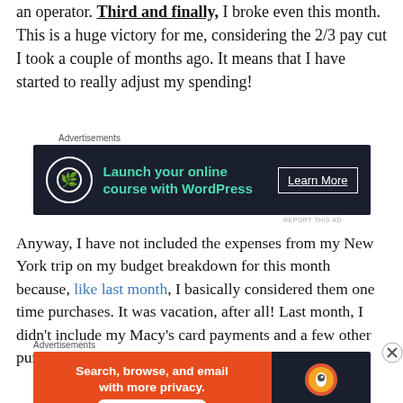an operator. Third and finally, I broke even this month. This is a huge victory for me, considering the 2/3 pay cut I took a couple of months ago. It means that I have started to really adjust my spending!
[Figure (screenshot): Advertisement banner for 'Launch your online course with WordPress' with a Learn More button on dark navy background]
Anyway, I have not included the expenses from my New York trip on my budget breakdown for this month because, like last month, I basically considered them one time purchases. It was vacation, after all! Last month, I didn't include my Macy's card payments and a few other purchases (e.g. my replacement iPhone)  and I think tha
[Figure (screenshot): Advertisement banner for DuckDuckGo: Search, browse, and email with more privacy. All in One Free App]